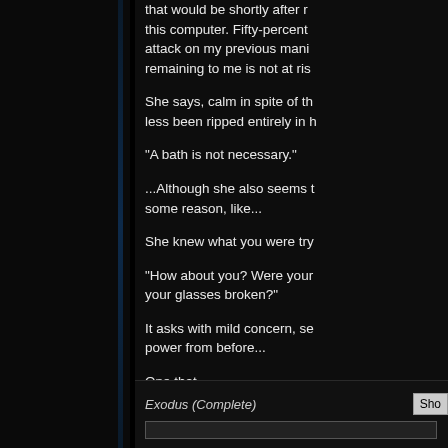that would be shortly after running this computer. Fifty-percent attack on my previous mani remaining to me is not at ris
She says, calm in spite of th less been ripped entirely in h
"A bath is not necessary."
...Although she also seems t some reason, like...
She knew what you were try
"How about you? Were your glasses broken?"
It asks with mild concern, se power from before...
One that...
Doesn't seem too keen on c
Exodus (Complete)  Sho